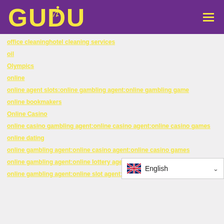[Figure (logo): GUDU logo with running figure in yellow on purple background, with hamburger menu icon on right]
office cleaninghotel cleaning services
oil
Olympics
online
online agent slots:online gambling agent:online gambling game
online bookmakers
Online Casino
online casino gambling agent:online casino agent:online casino games
online dating
online gambling agent:online casino agent:online casino games
online gambling agent:online lottery agent:lottery game online
online gambling agent:online slot agent:onl...
[Figure (screenshot): Language selector bar showing UK flag and 'English' text with dropdown arrow]